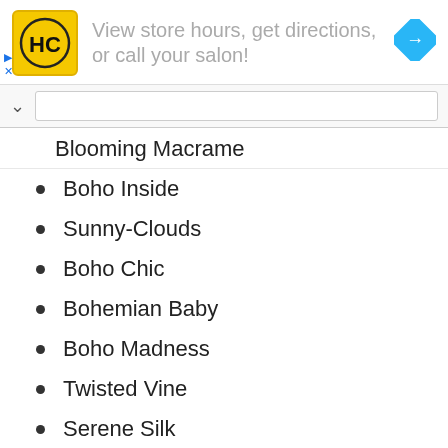[Figure (infographic): Advertisement banner for HC salon finder with yellow logo, text 'View store hours, get directions, or call your salon!' and a blue navigation diamond icon]
Blooming Macrame
Boho Inside
Sunny-Clouds
Boho Chic
Bohemian Baby
Boho Madness
Twisted Vine
Serene Silk
Into the Wild
Peaceful Places
Chic Design